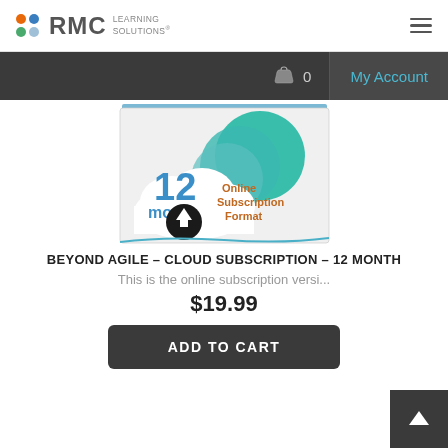RMC Learning Solutions
[Figure (screenshot): Navigation bar with basket icon showing 0 items and My Account link]
[Figure (illustration): Product image showing '12 month Online Subscription Format' with cloud and circular graphics]
BEYOND AGILE - CLOUD SUBSCRIPTION - 12 MONTH
This is the online subscription versi...
$19.99
ADD TO CART